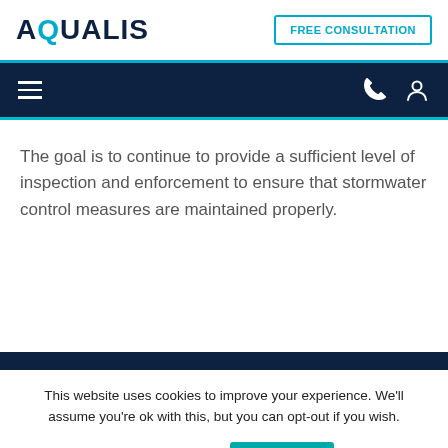AQUALIS
FREE CONSULTATION
The goal is to continue to provide a sufficient level of inspection and enforcement to ensure that stormwater control measures are maintained properly.
This website uses cookies to improve your experience. We'll assume you're ok with this, but you can opt-out if you wish.
Cookie settings
ACCEPT